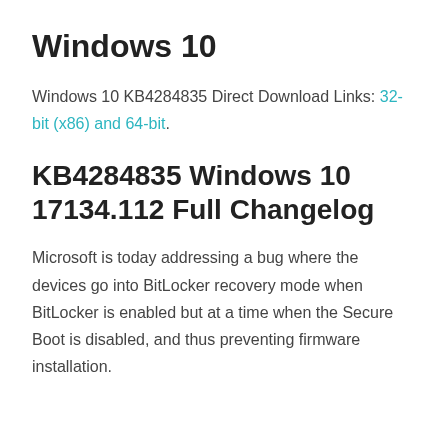Windows 10
Windows 10 KB4284835 Direct Download Links: 32-bit (x86) and 64-bit.
KB4284835 Windows 10 17134.112 Full Changelog
Microsoft is today addressing a bug where the devices go into BitLocker recovery mode when BitLocker is enabled but at a time when the Secure Boot is disabled, and thus preventing firmware installation.